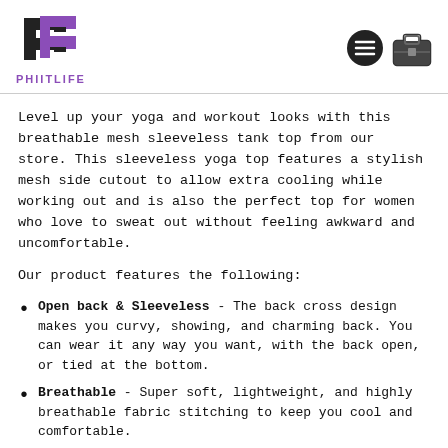PHIITLIFE
Level up your yoga and workout looks with this breathable mesh sleeveless tank top from our store. This sleeveless yoga top features a stylish mesh side cutout to allow extra cooling while working out and is also the perfect top for women who love to sweat out without feeling awkward and uncomfortable.
Our product features the following:
Open back & Sleeveless - The back cross design makes you curvy, showing, and charming back. You can wear it any way you want, with the back open, or tied at the bottom.
Breathable - Super soft, lightweight, and highly breathable fabric stitching to keep you cool and comfortable.
Perfect for any use - Can work as activewear, casual